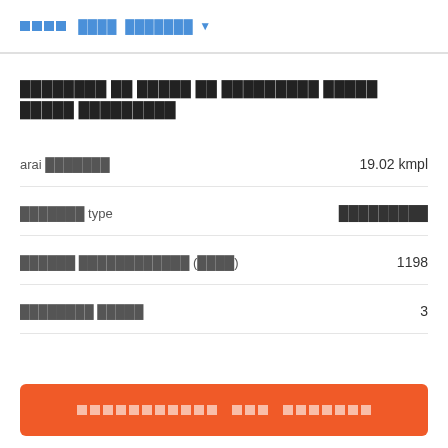████ ███████ ▼
████████ ██ █████ ██ █████████ █████ █████ █████████
| Specification | Value |
| --- | --- |
| arai ███████ | 19.02 kmpl |
| ███████ type | █████████ |
| ██████ ████████████ (████) | 1198 |
| ████████ █████ | 3 |
████████████ ███ ███████